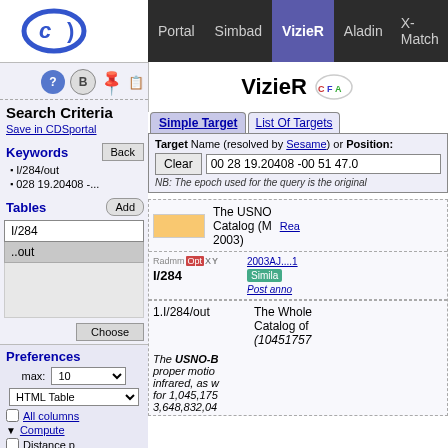CDS Portal | Simbad | VizieR | Aladin | X-Match | Other
VizieR
Search Criteria
Save in CDSportal
Keywords
I/284/out
028 19.20408 -...
Tables
| I/284 |
| ..out |
|  |
Preferences
max: 10
HTML Table
All columns
Compute
Distance p
Simple Target | List Of Targets
Target Name (resolved by Sesame) or Position:
00 28 19.20408 -00 51 47.0
NB: The epoch used for the query is the original
The USNO-B Catalog (Monet+ 2003)
I/284
1.I/284/out
The Whole-Sky USNO-B1 Catalog of (1045175762)
The USNO-B1.0 catalog... proper motion... infrared, as w... for 1,045,175... 3,648,832,04...